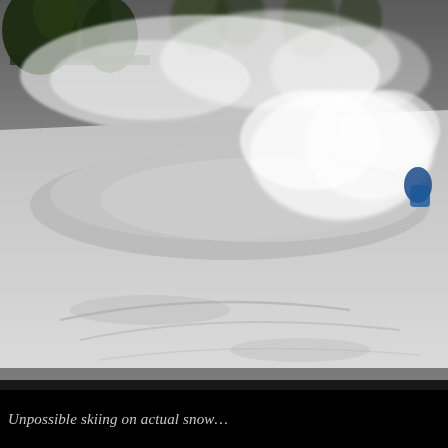[Figure (photo): A skier in blue jacket skiing through deep powder snow on a snowy slope, creating a large spray of powder snow. Trees are visible in the background at the top of the image. Ski tracks are visible in the snow. The scene is overcast and wintry.]
Unpossible skiing on actual snow…